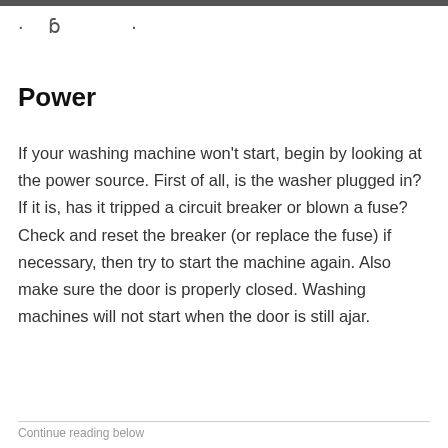· ɓ ·
Power
If your washing machine won't start, begin by looking at the power source. First of all, is the washer plugged in? If it is, has it tripped a circuit breaker or blown a fuse? Check and reset the breaker (or replace the fuse) if necessary, then try to start the machine again. Also make sure the door is properly closed. Washing machines will not start when the door is still ajar.
Continue reading below